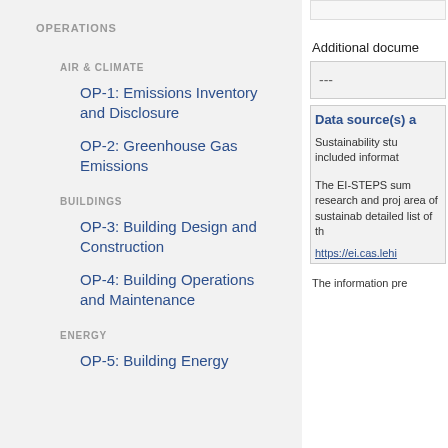OPERATIONS
AIR & CLIMATE
OP-1: Emissions Inventory and Disclosure
OP-2: Greenhouse Gas Emissions
BUILDINGS
OP-3: Building Design and Construction
OP-4: Building Operations and Maintenance
ENERGY
OP-5: Building Energy
Additional docume
---
Data source(s) a
Sustainability stu included informat
The EI-STEPS sum research and proj area of sustainab detailed list of th
https://ei.cas.lehi
The information pre